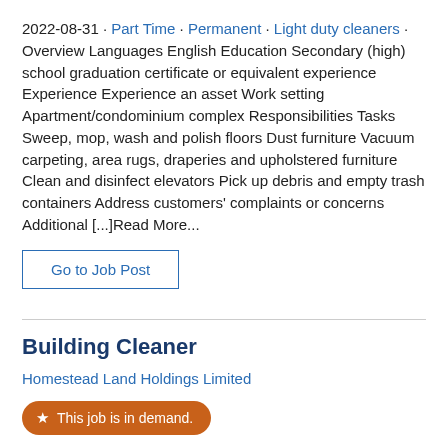2022-08-31 · Part Time · Permanent · Light duty cleaners · Overview Languages English Education Secondary (high) school graduation certificate or equivalent experience Experience Experience an asset Work setting Apartment/condominium complex Responsibilities Tasks Sweep, mop, wash and polish floors Dust furniture Vacuum carpeting, area rugs, draperies and upholstered furniture Clean and disinfect elevators Pick up debris and empty trash containers Address customers' complaints or concerns Additional [...]Read More...
Go to Job Post
Building Cleaner
Homestead Land Holdings Limited
This job is in demand.